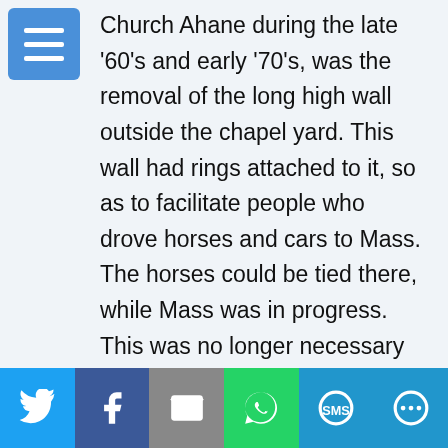Church Ahane during the late '60's and early '70's, was the removal of the long high wall outside the chapel yard. This wall had rings attached to it, so as to facilitate people who drove horses and cars to Mass. The horses could be tied there, while Mass was in progress. This was no longer necessary in the Ireland of the late '60's, as motor cars were becoming increasingly more popular. In the middle of this wall was a dark green gate with two piers. The small wall, which is, still there today replaced this.

Once again, in 1977 reconstruction took place
Social share bar: Twitter, Facebook, Email, WhatsApp, SMS, Share